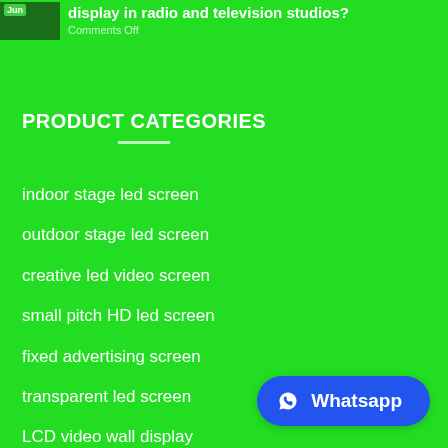display in radio and television studios?
Comments Off
PRODUCT CATEGORIES
indoor stage led screen
outdoor stage led screen
creative led video screen
small pitch HD led screen
fixed advertising screen
transparent led screen
LCD video wall display
led display accessories
Whatsapp